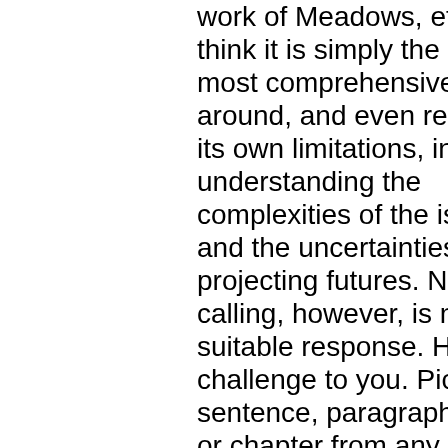work of Meadows, et al. I think it is simply the best, most comprehensive work around, and even recognizes its own limitations, in understanding the complexities of the issues and the uncertainties of projecting futures. Name-calling, however, is not a suitable response. Here's my challenge to you. Pick any sentence, paragraph, section, or chapter from any of their books that you wish to challenge on facts. I'll do my best to defend them. Your readers can delare the winner. You can even bundle the exchange as the review you wanted to